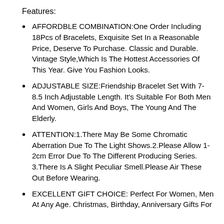Features:
AFFORDBLE COMBINATION:One Order Including 18Pcs of Bracelets, Exquisite Set In a Reasonable Price, Deserve To Purchase. Classic and Durable. Vintage Style,Which Is The Hottest Accessories Of This Year. Give You Fashion Looks.
ADJUSTABLE SIZE:Friendship Bracelet Set With 7-8.5 Inch Adjustable Length. It's Suitable For Both Men And Women, Girls And Boys, The Young And The Elderly.
ATTENTION:1.There May Be Some Chromatic Aberration Due To The Light Shows.2.Please Allow 1-2cm Error Due To The Different Producing Series. 3.There Is A Slight Peculiar Smell.Please Air These Out Before Wearing.
EXCELLENT GIFT CHOICE: Perfect For Women, Men At Any Age. Christmas, Birthday, Anniversary Gifts For